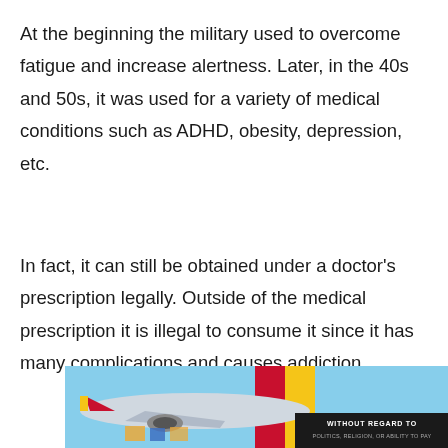At the beginning the military used to overcome fatigue and increase alertness. Later, in the 40s and 50s, it was used for a variety of medical conditions such as ADHD, obesity, depression, etc.
In fact, it can still be obtained under a doctor's prescription legally. Outside of the medical prescription it is illegal to consume it since it has many complications and causes addiction.
[Figure (photo): Photograph of a cargo aircraft being loaded, with a Southwest Airlines-style livery (red, yellow, blue). An advertisement overlay reads 'WITHOUT REGARD TO POLITICS, RELIGION, OR ABILITY TO PAY'.]